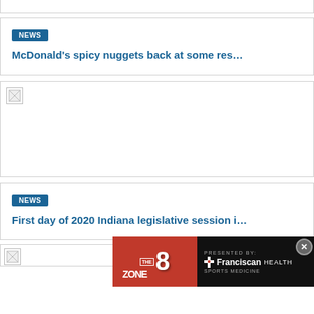NEWS
McDonald's spicy nuggets back at some res…
[Figure (photo): Broken image placeholder for news article]
NEWS
First day of 2020 Indiana legislative session i…
[Figure (photo): Advertisement banner: The Zone 8, Presented by Franciscan Health Sports Medicine]
[Figure (photo): Broken image placeholder for bottom news article]